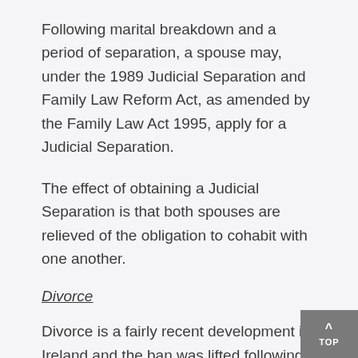Following marital breakdown and a period of separation, a spouse may, under the 1989 Judicial Separation and Family Law Reform Act, as amended by the Family Law Act 1995, apply for a Judicial Separation.
The effect of obtaining a Judicial Separation is that both spouses are relieved of the obligation to cohabit with one another.
Divorce
Divorce is a fairly recent development in Ireland and the ban was lifted following a very controversial referendum in November 1995 and since 1997 people can apply for a Divorce in